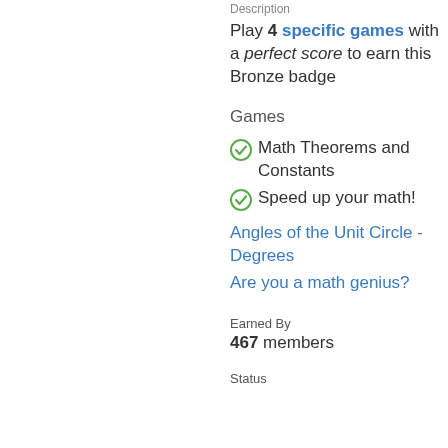Description
Play 4 specific games with a perfect score to earn this Bronze badge
Games
Math Theorems and Constants
Speed up your math!
Angles of the Unit Circle - Degrees
Are you a math genius?
Earned By
467 members
Status